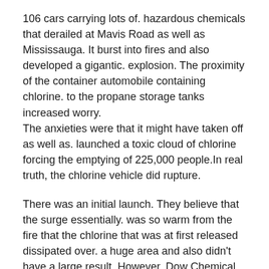106 cars carrying lots of. hazardous chemicals that derailed at Mavis Road as well as Mississauga. It burst into fires and also developed a gigantic. explosion. The proximity of the container automobile containing chlorine. to the propane storage tanks increased worry. The anxieties were that it might have taken off as well as. launched a toxic cloud of chlorine forcing the emptying of 225,000 people.In real truth, the chlorine vehicle did rupture.
There was an initial launch. They believe that the surge essentially. was so warm from the fire that the chlorine that was at first released dissipated over. a huge area and also didn't have a large result. However, Dow Chemical was included for a duration. of about six days trying to spot the container before they can really transfer the staying. chlorine far from the site.